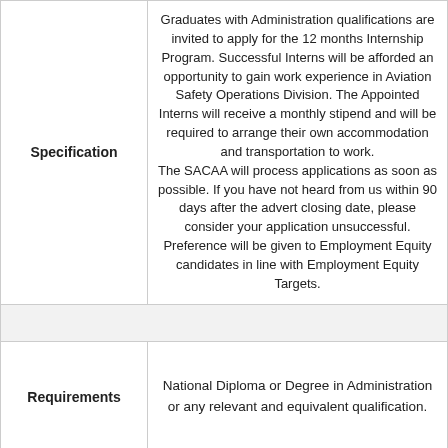|  |  |
| --- | --- |
| Specification | Graduates with Administration qualifications are invited to apply for the 12 months Internship Program. Successful Interns will be afforded an opportunity to gain work experience in Aviation Safety Operations Division. The Appointed Interns will receive a monthly stipend and will be required to arrange their own accommodation and transportation to work. The SACAA will process applications as soon as possible. If you have not heard from us within 90 days after the advert closing date, please consider your application unsuccessful. Preference will be given to Employment Equity candidates in line with Employment Equity Targets. |
| Requirements | National Diploma or Degree in Administration or any relevant and equivalent qualification. |